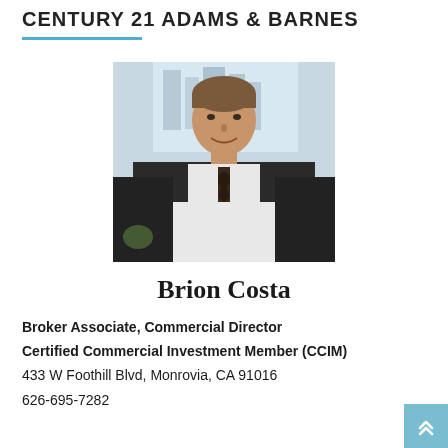CENTURY 21 ADAMS & BARNES
[Figure (photo): Professional headshot of Brion Costa, a man in a white dress shirt and patterned tie, sitting at a desk with a building visible through a window in the background.]
Brion Costa
Broker Associate, Commercial Director
Certified Commercial Investment Member (CCIM)
433 W Foothill Blvd, Monrovia, CA 91016
626-695-7282